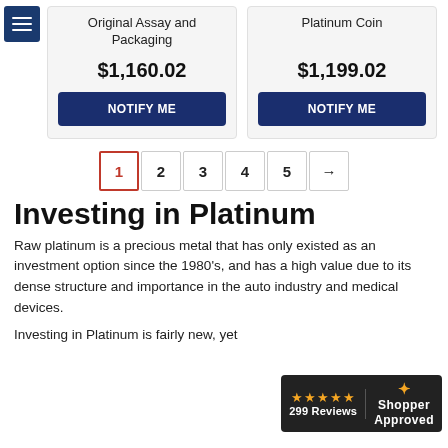Original Assay and Packaging
Platinum Coin
$1,160.02
$1,199.02
NOTIFY ME
NOTIFY ME
1
2
3
4
5
→
Investing in Platinum
Raw platinum is a precious metal that has only existed as an investment option since the 1980's, and has a high value due to its dense structure and importance in the auto industry and medical devices.
Investing in Platinum is fairly new, yet
[Figure (logo): Shopper Approved badge showing 4 stars, 299 Reviews, and the Shopper Approved logo on a dark background]